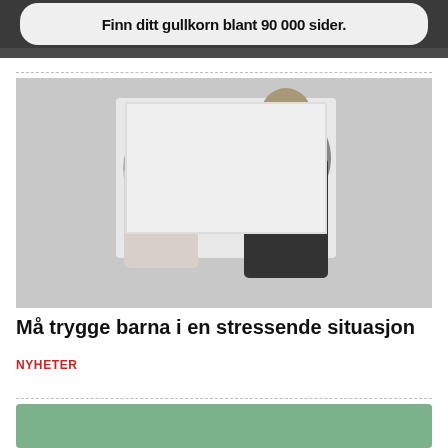[Figure (photo): Partial view of a top image showing text 'Finn ditt gullkorn blant 90 000 sider.' over a dark photographic background]
[Figure (photo): Black and white photo of two people standing side by side — a woman with long blonde hair wearing a light blouse and lanyard, and a man wearing a black t-shirt and lanyard with glasses]
Må trygge barna i en stressende situasjon
NYHETER
[Figure (photo): Bottom portion of a green-tinted image block, partially visible]